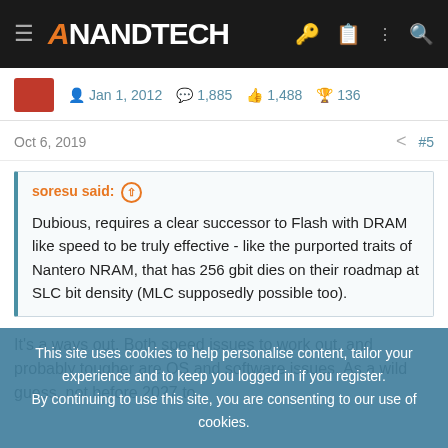AnandTech
Jan 1, 2012   1,885   1,488   136
Oct 6, 2019   #5
soresu said: ↑

Dubious, requires a clear successor to Flash with DRAM like speed to be truly effective - like the purported traits of Nantero NRAM, that has 256 gbit dies on their roadmap at SLC bit density (MLC supposedly possible too).
It's a ways out. Both speed issues to work out, and probably tougher are OS and software issues. As a wild guess, not before 2027 to
This site uses cookies to help personalise content, tailor your experience and to keep you logged in if you register.
By continuing to use this site, you are consenting to our use of cookies.